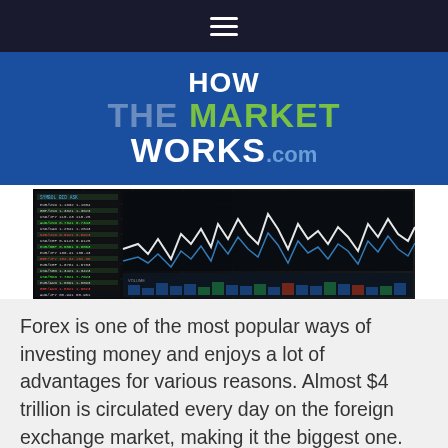HowTheMarketWorks.com — navigation bar
[Figure (logo): HowTheMarketWorks.com logo on blue background]
[Figure (photo): Dark financial trading screens showing stock market charts and data tables]
Forex is one of the most popular ways of investing money and enjoys a lot of advantages for various reasons. Almost $4 trillion is circulated every day on the foreign exchange market, making it the biggest one.
Partial text cut off at bottom of page